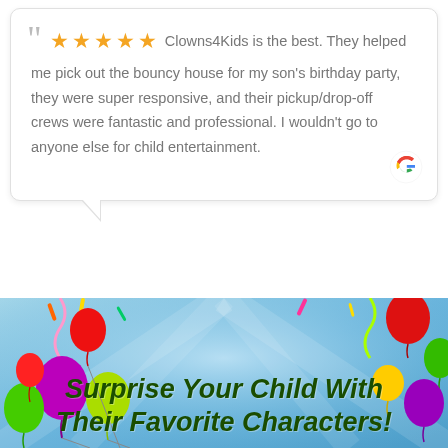Clowns4Kids is the best. They helped me pick out the bouncy house for my son's birthday party, they were super responsive, and their pickup/drop-off crews were fantastic and professional. I wouldn't go to anyone else for child entertainment.
Ross Kartez
a month ago
Surprise Your Child With Their Favorite Characters!